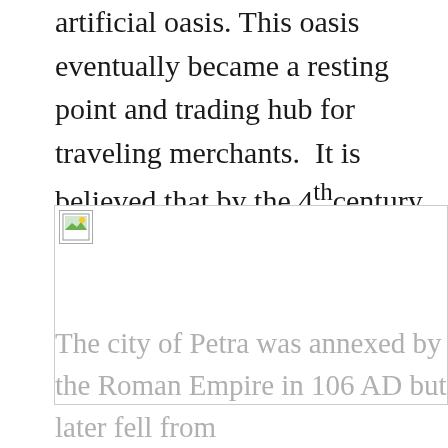artificial oasis. This oasis eventually became a resting point and trading hub for traveling merchants.  It is believed that by the 4th century B.C. Petra became the capital of the Nabataean Kingdom.
[Figure (photo): A broken/missing image placeholder showing a small image icon with a green landscape thumbnail.]
The city of Petra was annexed by the Roman Empire in 106 AD but later fell from